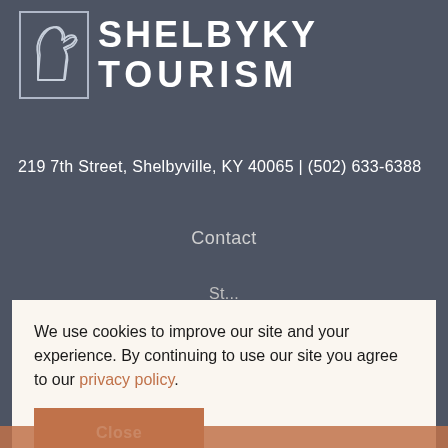[Figure (logo): ShelbyKY Tourism logo with horse silhouette in a rectangular frame, white text on dark gray background]
219 7th Street, Shelbyville, KY 40065 | (502) 633-6388
Contact
We use cookies to improve our site and your experience. By continuing to use our site you agree to our privacy policy.
Close